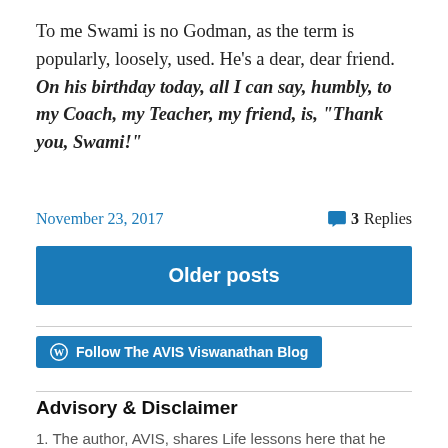To me Swami is no Godman, as the term is popularly, loosely, used. He's a dear, dear friend. On his birthday today, all I can say, humbly, to my Coach, my Teacher, my friend, is, “Thank you, Swami!”
November 23, 2017
3 Replies
Older posts
Follow The AVIS Viswanathan Blog
Advisory & Disclaimer
1. The author, AVIS, shares Life lessons here that he has gleaned from his lived experiences. AVIS has nothing against or for any religion. If